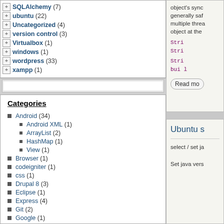SQLAlchemy (7)
ubuntu (22)
Uncategorized (4)
version control (3)
Virtualbox (1)
windows (1)
wordpress (33)
xampp (1)
Categories
Android (34)
Android XML (1)
ArrayList (2)
HashMap (1)
View (1)
Browser (1)
codeigniter (1)
css (1)
Drupal 8 (3)
Eclipse (1)
Express (4)
Git (2)
Google (1)
html (1)
Java (3)
Spring boot (1)
object's sync... generally saf... multiple threa... object at the...
Stri Stri
Stri bui l
Read mo
Ubuntu s
select / set ja
Set java vers